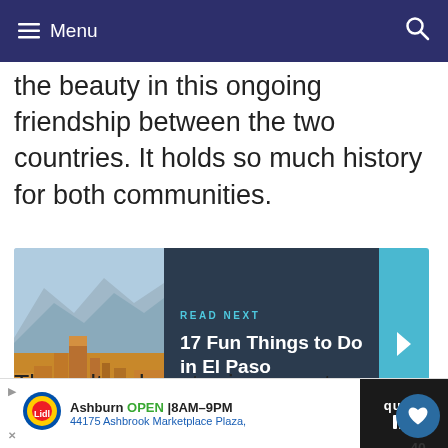≡ Menu
the beauty in this ongoing friendship between the two countries. It holds so much history for both communities.
[Figure (screenshot): Read Next card with El Paso city skyline photo on the left and dark panel on the right reading 'READ NEXT / 17 Fun Things to Do in El Paso' with a blue arrow panel]
The cultural center is a great place to learn
[Figure (screenshot): Advertisement bar: Lidl store ad showing Ashburn OPEN 8AM-9PM, 44175 Ashbrook Marketplace Plaza]